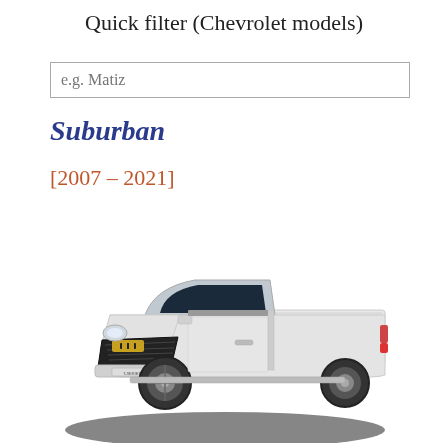Quick filter (Chevrolet models)
e.g. Matiz
Suburban
[2007 – 2021]
[Figure (photo): White Chevrolet T-Series single-cab pickup truck with flat bed, viewed from front-left angle, with shadow beneath on white background]